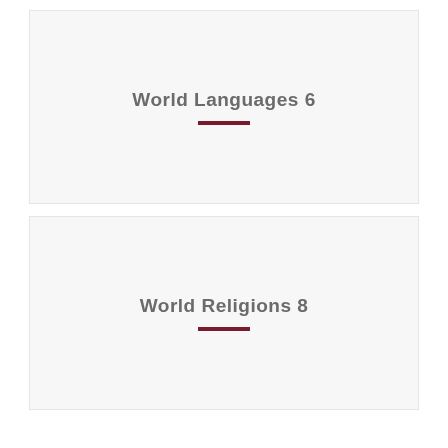[Figure (other): Card panel with title 'World Languages 6' and a dark red horizontal rule beneath it, on a light gray background.]
[Figure (other): Card panel with title 'World Religions 8' and a dark red horizontal rule beneath it, on a light gray background.]